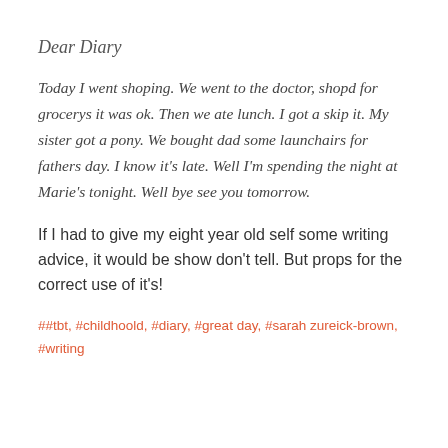Dear Diary
Today I went shoping. We went to the doctor, shopd for grocerys it was ok. Then we ate lunch. I got a skip it. My sister got a pony. We bought dad some launchairs for fathers day. I know it’s late. Well I’m spending the night at Marie’s tonight. Well bye see you tomorrow.
If I had to give my eight year old self some writing advice, it would be show don’t tell. But props for the correct use of it’s!
##tbt, #childhoold, #diary, #great day, #sarah zureick-brown, #writing